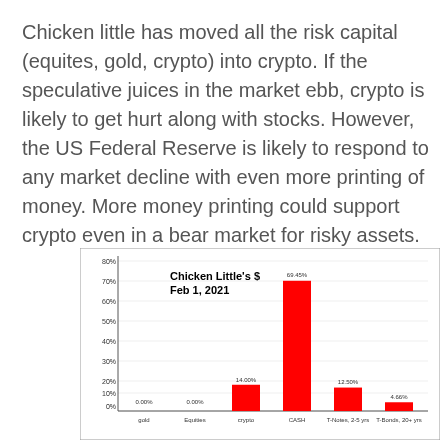Chicken little has moved all the risk capital (equites, gold, crypto) into crypto. If the speculative juices in the market ebb, crypto is likely to get hurt along with stocks. However, the US Federal Reserve is likely to respond to any market decline with even more printing of money. More money printing could support crypto even in a bear market for risky assets.
[Figure (bar-chart): Chicken Little's $ Feb 1, 2021]